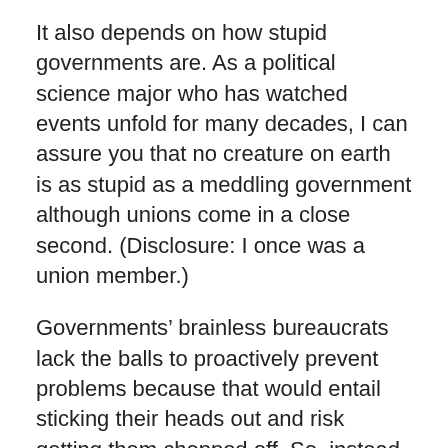It also depends on how stupid governments are. As a political science major who has watched events unfold for many decades, I can assure you that no creature on earth is as stupid as a meddling government although unions come in a close second. (Disclosure: I once was a union member.)
Governments’ brainless bureaucrats lack the balls to proactively prevent problems because that would entail sticking their heads out and risk getting them chopped off. So, instead, they wait for problems to arise. Governments are reactive not proactive.
Furthermore, instead of determining the root cause of a problem (usually the government itself through its moronic meddling) they, instead, try to solve the results of a problem rather than the problem itself. You can fix